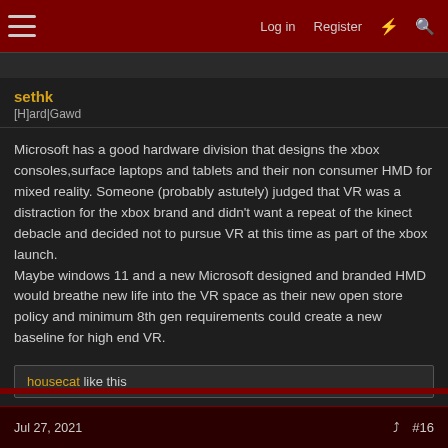Log in  Register  #16
sethk
[H]ard|Gawd
Microsoft has a good hardware division that designs the xbox consoles,surface laptops and tablets and their non consumer HMD for mixed reality. Someone (probably astutely) judged that VR was a distraction for the xbox brand and didn't want a repeat of the kinect debacle and decided not to pursue VR at this time as part of the xbox launch.
Maybe windows 11 and a new Microsoft designed and branded HMD would breathe new life into the VR space as their new open store policy and minimum 8th gen requirements could create a new baseline for high end VR.
housecat like this
Jul 27, 2021  #16